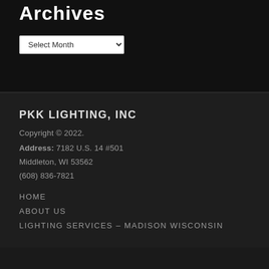Archives
Select Month
PKK LIGHTING, INC
Copyright © 2022.
Address: 7182 U.S. 14 #501
Middleton, WI 53562
(608) 836-7821
HOME
ABOUT US
LIGHTING SERVICES – MADISON WISCONSIN